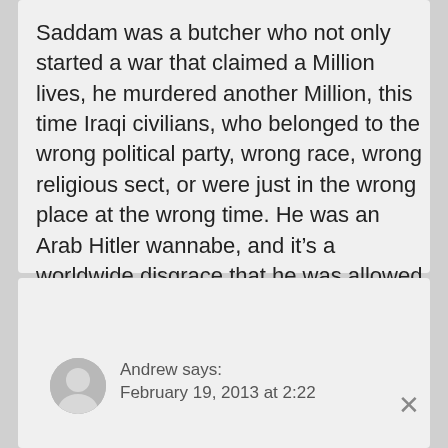Saddam was a butcher who not only started a war that claimed a Million lives, he murdered another Million, this time Iraqi civilians, who belonged to the wrong political party, wrong race, wrong religious sect, or were just in the wrong place at the wrong time. He was an Arab Hitler wannabe, and it's a worldwide disgrace that he was allowed to continue his murderous ways for so long.
Andrew says:
February 19, 2013 at 2:22